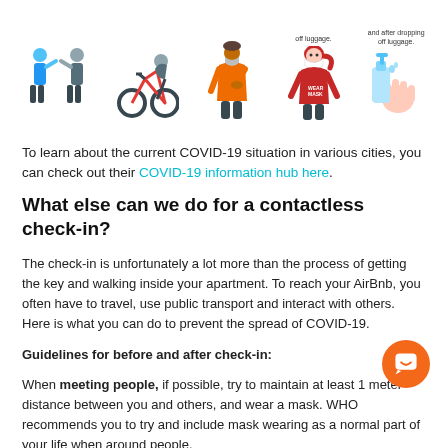[Figure (illustration): Five illustrations showing COVID-19 safety scenarios: two people greeting with social distancing, a person cycling, a person wearing a mask and coughing, a person wearing a mask, and a hand using hand sanitizer. Two captions at top read 'off luggage.' and 'and after dropping off luggage.']
To learn about the current COVID-19 situation in various cities, you can check out their COVID-19 information hub here.
What else can we do for a contactless check-in?
The check-in is unfortunately a lot more than the process of getting the key and walking inside your apartment. To reach your AirBnb, you often have to travel, use public transport and interact with others. Here is what you can do to prevent the spread of COVID-19.
Guidelines for before and after check-in:
When meeting people, if possible, try to maintain at least 1 meter distance between you and others, and wear a mask. WHO recommends you to try and include mask wearing as a normal part of your life when around people.